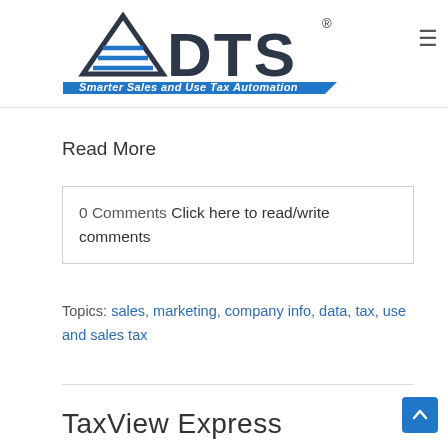ADTS - Smarter Sales and Use Tax Automation
Read More
0 Comments Click here to read/write comments
Topics: sales, marketing, company info, data, tax, use and sales tax
TaxView Express